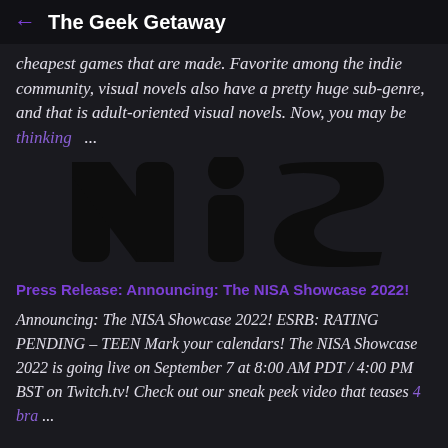← The Geek Getaway
cheapest games that are made. Favorite among the indie community, visual novels also have a pretty huge sub-genre, and that is adult-oriented visual novels. Now, you may be thinking ...
[Figure (logo): NISA logo rendered in dark/black tones on dark background]
Press Release: Announcing: The NISA Showcase 2022!
Announcing: The NISA Showcase 2022! ESRB: RATING PENDING – TEEN Mark your calendars! The NISA Showcase 2022 is going live on September 7 at 8:00 AM PDT / 4:00 PM BST on Twitch.tv! Check out our sneak peek video that teases 4 bra ...